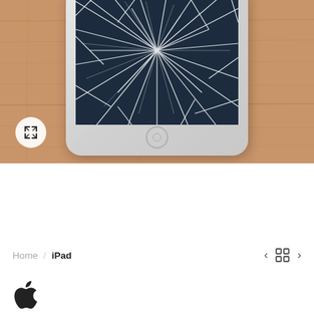[Figure (photo): iPad with cracked screen lying on a wooden surface, viewed from above. The screen is shattered with cracks radiating from the center. An expand/fullscreen button is visible in the bottom-left corner of the image.]
Home / iPad
[Figure (logo): Apple logo (grey apple silhouette)]